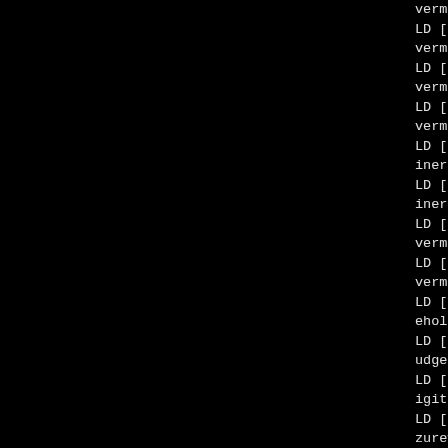vermedia-a16d.ko
LD [M] drivers/media/rc/ke
vermedia-cardbus.ko
LD [M] drivers/media/rc/ke
vermedia.ko
LD [M] drivers/media/rc/ke
vermedia-dvbt.ko
LD [M] drivers/media/rc/ke
inergy-1400.ko
LD [M] drivers/media/rc/ke
inergy.ko
LD [M] drivers/media/rc/ke
vermedia-m733a-rm-k6.ko
LD [M] drivers/media/rc/ke
vermedia-rm-ks.ko
LD [M] drivers/media/rc/ke
ehold-columbus.ko
LD [M] drivers/media/rc/ke
udget-ci-old.ko
LD [M] drivers/media/rc/ke
igitalnow-tinytwin.ko
LD [M] drivers/media/rc/ke
zurewave-ad-tu700.ko
LD [M] drivers/media/rc/ke